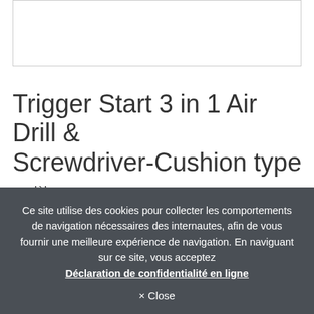[Figure (other): Empty white image box with border]
Trigger Start 3 in 1 Air Drill & Screwdriver-Cushion type
modèle : ACDN39,ACDN45,ACDN48,ACDN58,ACDN458,
Ce site utilise des cookies pour collecter les comportements de navigation nécessaires des internautes, afin de vous fournir une meilleure expérience de navigation. En naviguant sur ce site, vous acceptez Déclaration de confidentialité en ligne
× Close